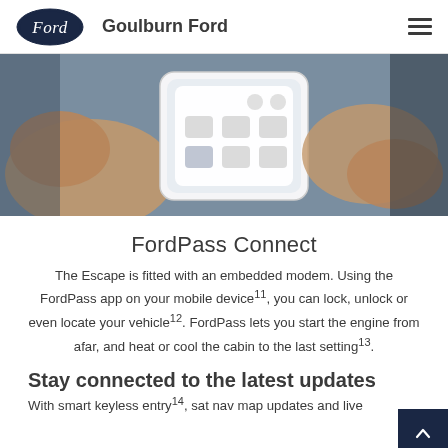Goulburn Ford
[Figure (photo): Hands holding a smartphone showing the FordPass app interface with various car control icons on screen]
FordPass Connect
The Escape is fitted with an embedded modem. Using the FordPass app on your mobile device¹¹, you can lock, unlock or even locate your vehicle¹². FordPass lets you start the engine from afar, and heat or cool the cabin to the last setting¹³.
Stay connected to the latest updates
With smart keyless entry¹⁴, sat nav map updates and live